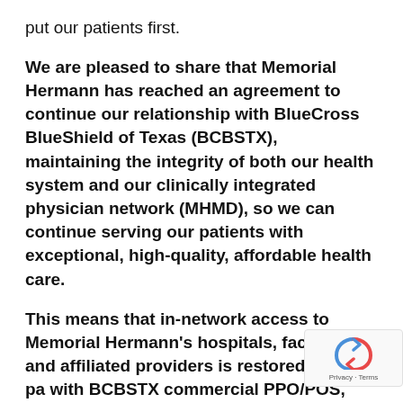put our patients first.
We are pleased to share that Memorial Hermann has reached an agreement to continue our relationship with BlueCross BlueShield of Texas (BCBSTX), maintaining the integrity of both our health system and our clinically integrated physician network (MHMD), so we can continue serving our patients with exceptional, high-quality, affordable health care.
This means that in-network access to Memorial Hermann's hospitals, facilities and affiliated providers is restored for our pa with BCBSTX commercial PPO/POS, EPO,